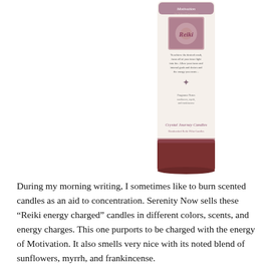[Figure (photo): A tall cylindrical candle with a label reading 'Motivation'. The candle is dark reddish-brown at the base and has a white/cream label area in the middle with text and imagery. The label includes the Crystal Journey Candles branding and decorative elements.]
During my morning writing, I sometimes like to burn scented candles as an aid to concentration. Serenity Now sells these “Reiki energy charged” candles in different colors, scents, and energy charges. This one purports to be charged with the energy of Motivation. It also smells very nice with its noted blend of sunflowers, myrrh, and frankincense.